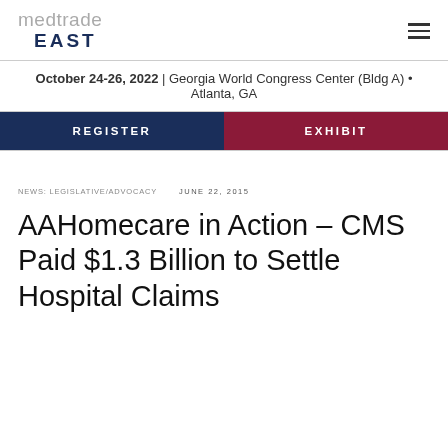[Figure (logo): Medtrade EAST logo with stylized text in gray and dark navy blue]
October 24-26, 2022 | Georgia World Congress Center (Bldg A) • Atlanta, GA
REGISTER
EXHIBIT
NEWS: LEGISLATIVE/ADVOCACY   JUNE 22, 2015
AAHomecare in Action – CMS Paid $1.3 Billion to Settle Hospital Claims